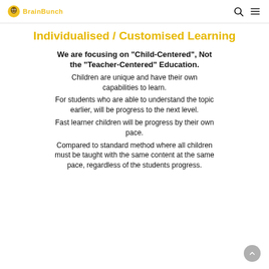BrainBunch logo, search icon, menu icon
Individualised / Customised Learning
We are focusing on "Child-Centered", Not the "Teacher-Centered" Education. Children are unique and have their own capabilities to learn. For students who are able to understand the topic earlier, will be progress to the next level. Fast learner children will be progress by their own pace. Compared to standard method where all children must be taught with the same content at the same pace, regardless of the students progress.